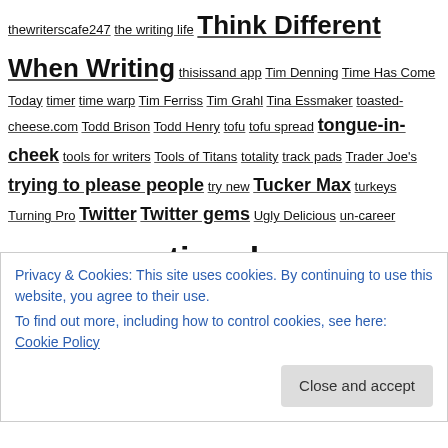thewriterscafe247 the writing life Think Different When Writing thisissand app Tim Denning Time Has Come Today timer time warp Tim Ferriss Tim Grahl Tina Essmaker toasted-cheese.com Todd Brison Todd Henry tofu tofu spread tongue-in-cheek tools for writers Tools of Titans totality track pads Trader Joe's trying to please people try new Tucker Max turkeys Turning Pro Twitter Twitter gems Ugly Delicious un-career unconventional Unmistakable Creative unmistakeable Unsplash up close look at your own writing vappingo.com vegetables video writing prompt vinyl LPs virtual assistant vocabulary voice typing vote waiver Walter Isaacson wardrobe warmup Web gems websiteplanet.com websites for writers weedwhackers weekend What's next? whoopie pies Why not you? Why Only is Better Than Best
Privacy & Cookies: This site uses cookies. By continuing to use this website, you agree to their use. To find out more, including how to control cookies, see here: Cookie Policy
Close and accept